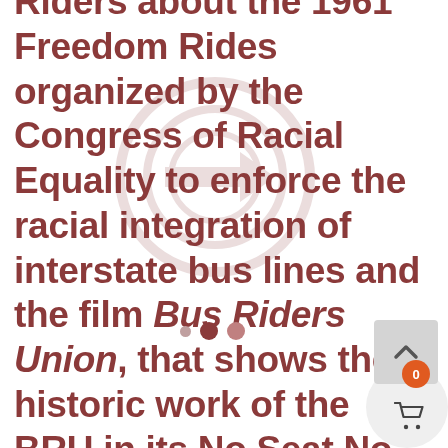Riders about the 1961 Freedom Rides organized by the Congress of Racial Equality to enforce the racial integration of interstate bus lines and the film Bus Riders Union, that shows the historic work of the BRU in its No Seat No Fare campaign to protest Transit Racism in the 199...